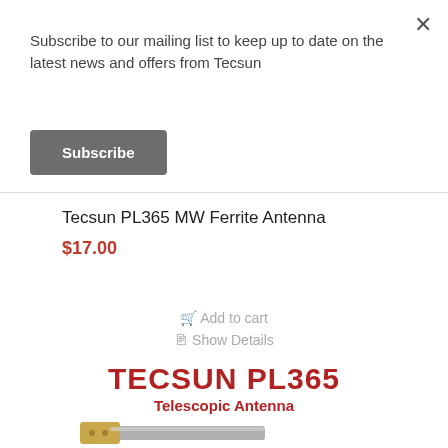Subscribe to our mailing list to keep up to date on the latest news and offers from Tecsun
Subscribe
×
Tecsun PL365 MW Ferrite Antenna
$17.00
Add to cart
Show Details
TECSUN PL365 Telescopic Antenna
[Figure (photo): Partial view of a telescopic antenna (Tecsun PL365), showing the tip and body of the antenna in gold/silver color, cut off at bottom of frame.]